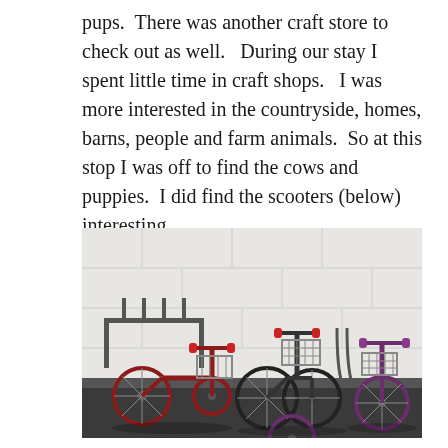pups.  There was another craft store to check out as well.   During our stay I spent little time in craft shops.   I was more interested in the countryside, homes, barns, people and farm animals.  So at this stop I was off to find the cows and puppies.  I did find the scooters (below) interesting.
[Figure (photo): Photograph of several scooters and bicycles with wire baskets parked against a white cinder block wall on a dark floor mat.]